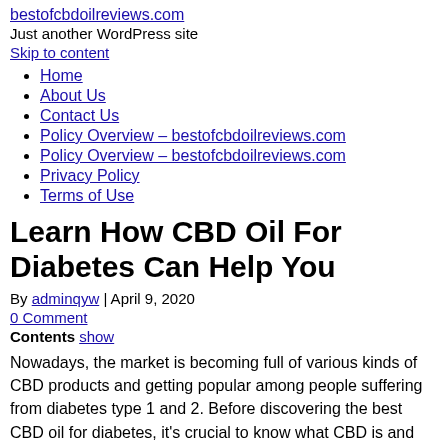bestofcbdoilreviews.com
Just another WordPress site
Skip to content
Home
About Us
Contact Us
Policy Overview – bestofcbdoilreviews.com
Policy Overview – bestofcbdoilreviews.com
Privacy Policy
Terms of Use
Learn How CBD Oil For Diabetes Can Help You
By adminqyw | April 9, 2020
0 Comment
Contents show
Nowadays, the market is becoming full of various kinds of CBD products and getting popular among people suffering from diabetes type 1 and 2. Before discovering the best CBD oil for diabetes, it's crucial to know what CBD is and what it's coming from. Everyone knows marijuana or weed and what it's used for. However, little